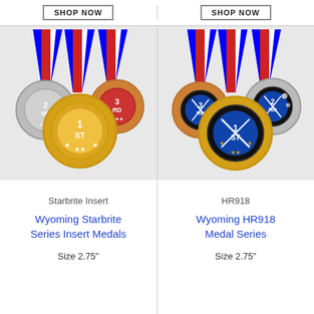[Figure (other): SHOP NOW button in left column top area]
[Figure (other): SHOP NOW button in right column top area]
[Figure (photo): Three medals with ribbons showing 1st, 2nd, 3rd place - Starbrite Insert series gold, silver, bronze medals with Wyoming design]
Starbrite Insert
Wyoming Starbrite Series Insert Medals
Size 2.75"
[Figure (photo): Three medals with ribbons showing 1st, 2nd, 3rd place - HR918 series with blue diamond insert design]
HR918
Wyoming HR918 Medal Series
Size 2.75"